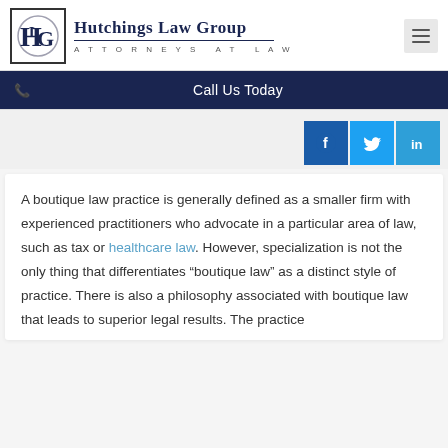[Figure (logo): Hutchings Law Group logo with HLG monogram in a square border, firm name and 'ATTORNEYS AT LAW' subtitle]
Call Us Today
[Figure (infographic): Social share buttons: Facebook, Twitter, LinkedIn]
A boutique law practice is generally defined as a smaller firm with experienced practitioners who advocate in a particular area of law, such as tax or healthcare law. However, specialization is not the only thing that differentiates “boutique law” as a distinct style of practice. There is also a philosophy associated with boutique law that leads to superior legal results. The practice